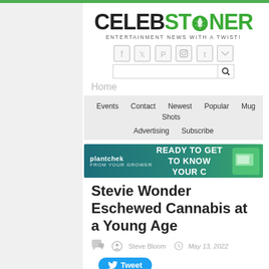CELEBSTONER — ENTERTAINMENT NEWS WITH A TWIST!
[Figure (logo): CelebStoner logo with cannabis leaf icon, tagline: ENTERTAINMENT NEWS WITH A TWIST!]
[Figure (infographic): Social media icons: Facebook, Twitter, Pinterest, Instagram, Tumblr, RSS]
[Figure (screenshot): Search bar with magnifying glass icon]
Home
Events   Contact   Newest   Popular   Mug Shots   Advertising   Subscribe
[Figure (infographic): plantchek advertisement banner: READY TO GET TO KNOW YOUR C]
Stevie Wonder Eschewed Cannabis at a Young Age
Steve Bloom   May 13, 2022
[Figure (infographic): Tweet button]